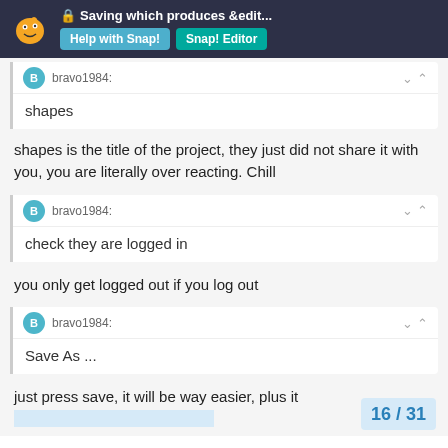Saving which produces &edit... | Help with Snap! | Snap! Editor
shapes
shapes is the title of the project, they just did not share it with you, you are literally over reacting. Chill
bravo1984: check they are logged in
you only get logged out if you log out
bravo1984: Save As ...
just press save, it will be way easier, plus it skips step 2
16 / 31